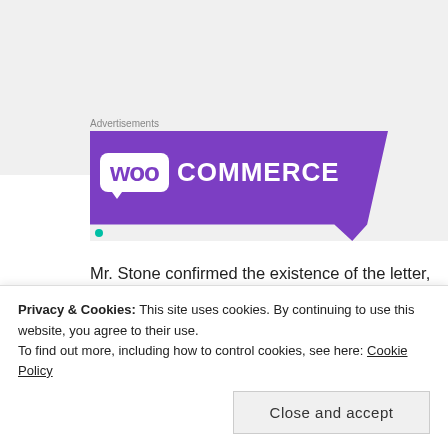Advertisements
[Figure (logo): WooCommerce logo on purple banner background with teal dot accent]
Mr. Stone confirmed the existence of the letter, which was dated Feb. 17. However, he said he had received it only on Friday, by email. Mr. Stone has acknowledged trading messages over Twitter with Guccifer 2.0, the online persona that officials believe was actually Russian intelligence
Privacy & Cookies: This site uses cookies. By continuing to use this website, you agree to their use.
To find out more, including how to control cookies, see here: Cookie Policy
Close and accept